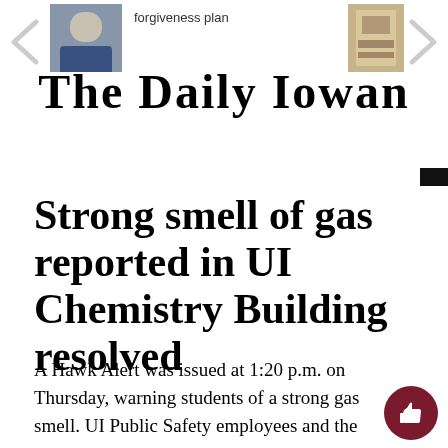[Figure (screenshot): Navigation arrow left (chevron), partially visible]
[Figure (photo): Small thumbnail photo of a person in a suit on the left side of navigation]
forgiveness plan
[Figure (photo): Small thumbnail photo on the right side of navigation]
[Figure (screenshot): Navigation arrow right (chevron), partially visible]
The Daily Iowan
Strong smell of gas reported in UI Chemistry Building resolved
A Hawk Alert was issued at 1:20 p.m. on Thursday, warning students of a strong gas smell. UI Public Safety employees and the